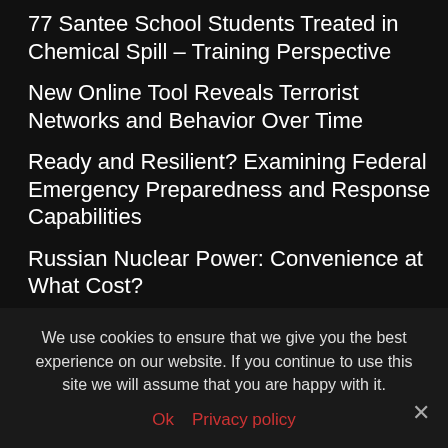77 Santee School Students Treated in Chemical Spill – Training Perspective
New Online Tool Reveals Terrorist Networks and Behavior Over Time
Ready and Resilient? Examining Federal Emergency Preparedness and Response Capabilities
Russian Nuclear Power: Convenience at What Cost?
Watchdog to Probe Alleged Mustard Gas Use by Islamic State
Feature: The Bizarre Reactor That Might Save Nuclear Fusion
New Nuclear Notebook: Pakistani Nuclear Forces
We use cookies to ensure that we give you the best experience on our website. If you continue to use this site we will assume that you are happy with it.
Ok  Privacy policy